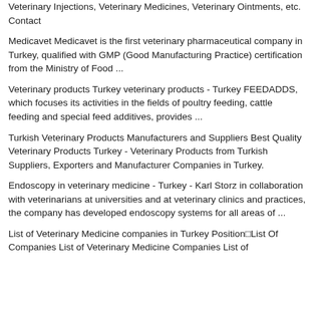Veterinary Injections, Veterinary Medicines, Veterinary Ointments, etc. Contact
Medicavet Medicavet is the first veterinary pharmaceutical company in Turkey, qualified with GMP (Good Manufacturing Practice) certification from the Ministry of Food ...
Veterinary products Turkey veterinary products - Turkey FEEDADDS, which focuses its activities in the fields of poultry feeding, cattle feeding and special feed additives, provides ...
Turkish Veterinary Products Manufacturers and Suppliers Best Quality Veterinary Products Turkey - Veterinary Products from Turkish Suppliers, Exporters and Manufacturer Companies in Turkey.
Endoscopy in veterinary medicine - Turkey - Karl Storz in collaboration with veterinarians at universities and at veterinary clinics and practices, the company has developed endoscopy systems for all areas of ...
List of Veterinary Medicine companies in Turkey Position List Of Companies List of Veterinary Medicine Companies List of